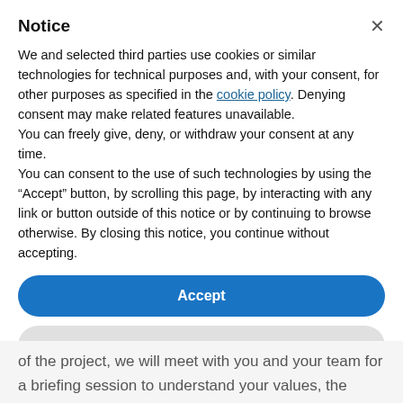Notice
We and selected third parties use cookies or similar technologies for technical purposes and, with your consent, for other purposes as specified in the cookie policy. Denying consent may make related features unavailable.
You can freely give, deny, or withdraw your consent at any time.
You can consent to the use of such technologies by using the “Accept” button, by scrolling this page, by interacting with any link or button outside of this notice or by continuing to browse otherwise. By closing this notice, you continue without accepting.
Accept
Learn more and customize
of the project, we will meet with you and your team for a briefing session to understand your values, the